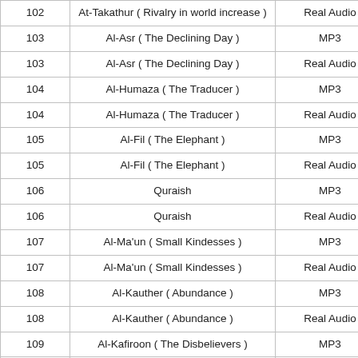| # | Name | Format |
| --- | --- | --- |
| 102 | At-Takathur ( Rivalry in world increase ) | Real Audio |
| 103 | Al-Asr ( The Declining Day ) | MP3 |
| 103 | Al-Asr ( The Declining Day ) | Real Audio |
| 104 | Al-Humaza ( The Traducer ) | MP3 |
| 104 | Al-Humaza ( The Traducer ) | Real Audio |
| 105 | Al-Fil ( The Elephant ) | MP3 |
| 105 | Al-Fil ( The Elephant ) | Real Audio |
| 106 | Quraish | MP3 |
| 106 | Quraish | Real Audio |
| 107 | Al-Ma'un ( Small Kindesses ) | MP3 |
| 107 | Al-Ma'un ( Small Kindesses ) | Real Audio |
| 108 | Al-Kauther ( Abundance ) | MP3 |
| 108 | Al-Kauther ( Abundance ) | Real Audio |
| 109 | Al-Kafiroon ( The Disbelievers ) | MP3 |
| 109 | Al-Kafiroon ( The Disbelievers ) | Real Audio |
| 110 | An-Nasr ( Divine Support ) | MP3 |
| 110 | An-Nasr ( Divine Support ) | Real Audio |